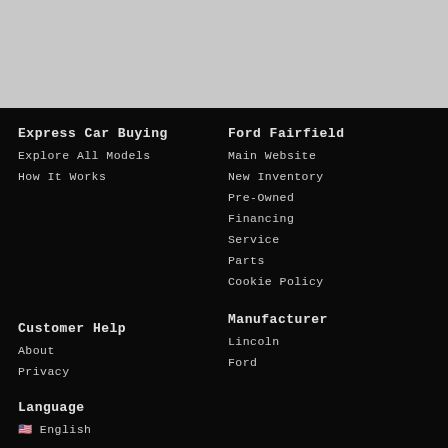[Figure (other): Gray top banner area]
Express Car Buying
Explore All Models
How It Works
Ford Fairfield
Main Website
New Inventory
Pre-Owned
Financing
Service
Parts
Cookie Policy
Customer Help
About
Privacy
Manufacturer
Lincoln
Ford
Language
English